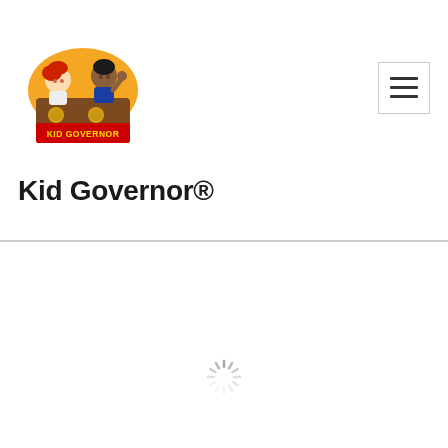[Figure (logo): Kid Governor logo: cartoon children behind a podium with 'KID GOVERNOR' banner, orange and red colors]
Kid Governor®
[Figure (other): Hamburger menu button icon (three horizontal lines) in a bordered square]
[Figure (other): Loading spinner animation indicator]